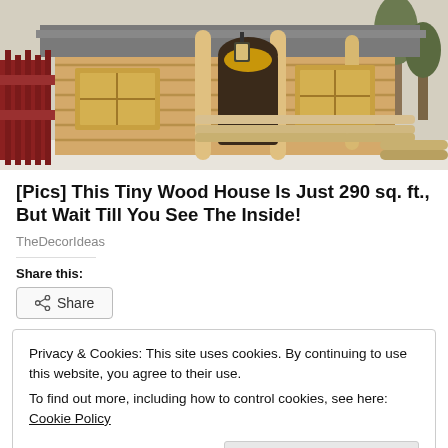[Figure (photo): Exterior photo of a small log cabin with light wood logs, a covered porch with log railings and columns, windows with wooden frames, a lantern hanging from the porch ceiling, and trees/snow in the background.]
[Pics] This Tiny Wood House Is Just 290 sq. ft., But Wait Till You See The Inside!
TheDecorIdeas
Share this:
Privacy & Cookies: This site uses cookies. By continuing to use this website, you agree to their use.
To find out more, including how to control cookies, see here: Cookie Policy
Close and accept